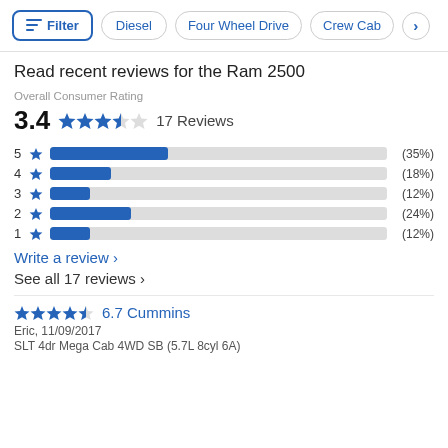Filter  Diesel  Four Wheel Drive  Crew Cab
Read recent reviews for the Ram 2500
Overall Consumer Rating
3.4  17 Reviews
[Figure (bar-chart): Star rating distribution]
Write a review >
See all 17 reviews >
6.7 Cummins
Eric, 11/09/2017
SLT 4dr Mega Cab 4WD SB (5.7L 8cyl 6A)